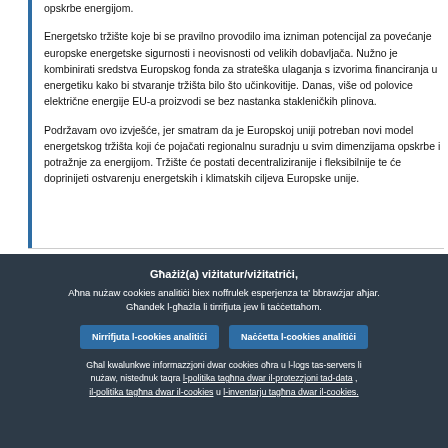opskrbe energijom.
Energetsko tržište koje bi se pravilno provodilo ima izniman potencijal za povećanje europske energetske sigurnosti i neovisnosti od velikih dobavljača. Nužno je kombinirati sredstva Europskog fonda za strateška ulaganja s izvorima financiranja u energetiku kako bi stvaranje tržišta bilo što učinkovitije. Danas, više od polovice električne energije EU-a proizvodi se bez nastanka stakleničkih plinova.
Podržavam ovo izvješće, jer smatram da je Europskoj uniji potreban novi model energetskog tržišta koji će pojačati regionalnu suradnju u svim dimenzijama opskrbe i potražnje za energijom. Tržište će postati decentraliziranije i fleksibilnije te će doprinijeti ostvarenju energetskih i klimatskih ciljeva Europske unije.
Għażiż(a) viżitatur/viżitatriċi, Aħna nużaw cookies analitiċi biex noffrulek esperjenza ta' bbrawżjar aħjar. Għandek l-għażla li tirrifjuta jew li taċċettahom.
Nirrifjuta l-cookies analitiċi
Naċċetta l-cookies analitiċi
Għal kwalunkwe informazzjoni dwar cookies oħra u l-logs tas-servers li nużaw, nistednuk taqra l-politika tagħna dwar il-protezzjoni tad-data , il-politika tagħna dwar il-cookies u l-inventarju tagħna dwar il-cookies.